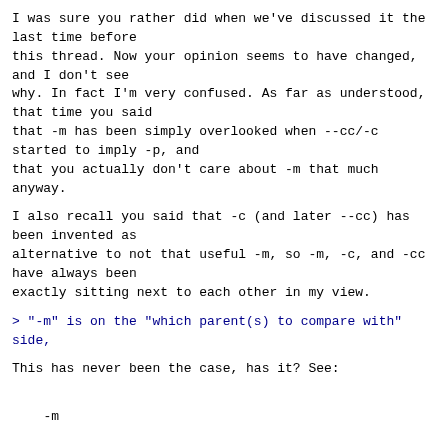I was sure you rather did when we've discussed it the last time before
this thread. Now your opinion seems to have changed, and I don't see
why. In fact I'm very confused. As far as understood, that time you said
that -m has been simply overlooked when --cc/-c started to imply -p, and
that you actually don't care about -m that much anyway.
I also recall you said that -c (and later --cc) has been invented as
alternative to not that useful -m, so -m, -c, and -cc have always been
exactly sitting next to each other in my view.
> "-m" is on the "which parent(s) to compare with" side,
This has never been the case, has it? See:
-m
        This flag makes the merge commits show the full diff like regular
        commits; for each merge parent, a separate log entry and diff is
        generated. An exception is that only diff against the first parent
        is shown when --first-parent option is given; in that case, the